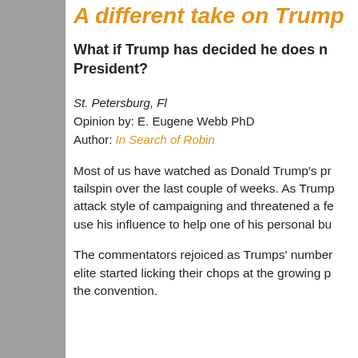A different take on Trump
What if Trump has decided he does not want to be President?
St. Petersburg, Fl
Opinion by: E. Eugene Webb PhD
Author: In Search of Robin
Most of us have watched as Donald Trump's presidential campaign went into a tailspin over the last couple of weeks. As Trump continued his slash and attack style of campaigning and threatened a few Republican leaders and use his influence to help one of his personal bu...
The commentators rejoiced as Trumps' numbers started to drop and the elite started licking their chops at the growing pr... the convention.